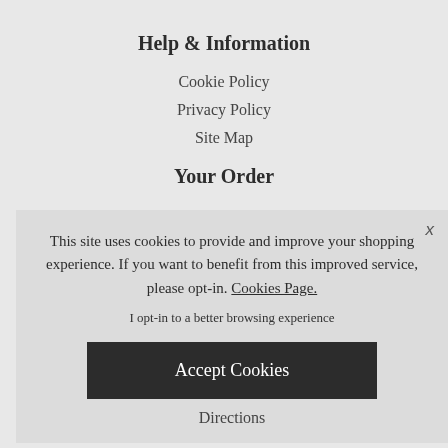Help & Information
Cookie Policy
Privacy Policy
Site Map
Your Order
This site uses cookies to provide and improve your shopping experience. If you want to benefit from this improved service, please opt-in. Cookies Page.
I opt-in to a better browsing experience
Accept Cookies
Directions